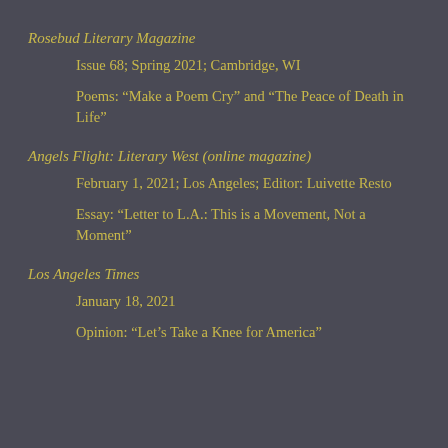Rosebud Literary Magazine
Issue 68; Spring 2021; Cambridge, WI
Poems: “Make a Poem Cry” and “The Peace of Death in Life”
Angels Flight: Literary West (online magazine)
February 1, 2021; Los Angeles; Editor: Luivette Resto
Essay: “Letter to L.A.: This is a Movement, Not a Moment”
Los Angeles Times
January 18, 2021
Opinion: “Let’s Take a Knee for America”